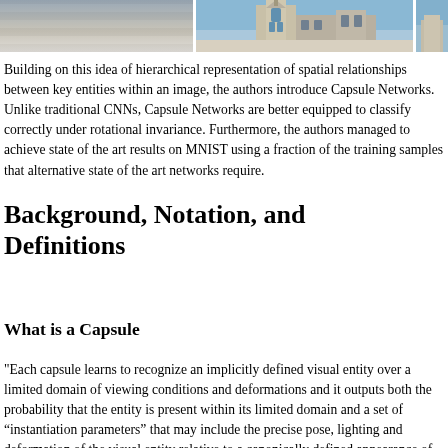[Figure (photo): Strip of three building/architecture photographs showing stone structures and towers against blue sky]
Building on this idea of hierarchical representation of spatial relationships between key entities within an image, the authors introduce Capsule Networks. Unlike traditional CNNs, Capsule Networks are better equipped to classify correctly under rotational invariance. Furthermore, the authors managed to achieve state of the art results on MNIST using a fraction of the training samples that alternative state of the art networks require.
Background, Notation, and Definitions
What is a Capsule
"Each capsule learns to recognize an implicitly defined visual entity over a limited domain of viewing conditions and deformations and it outputs both the probability that the entity is present within its limited domain and a set of “instantiation parameters” that may include the precise pose, lighting and deformation of the visual entity relative to a canonically defined appearance of the capsule. When the..."